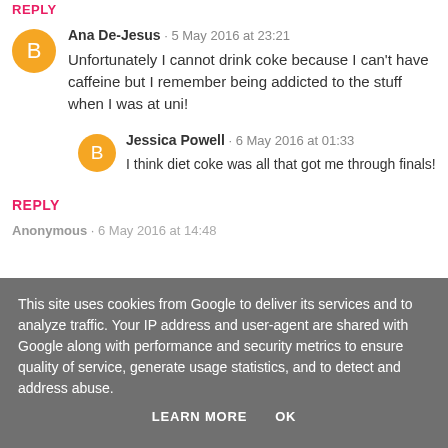REPLY
Ana De-Jesus · 5 May 2016 at 23:21
Unfortunately I cannot drink coke because I can't have caffeine but I remember being addicted to the stuff when I was at uni!
Jessica Powell · 6 May 2016 at 01:33
I think diet coke was all that got me through finals!
REPLY
Anonymous · 6 May 2016 at 14:48
This site uses cookies from Google to deliver its services and to analyze traffic. Your IP address and user-agent are shared with Google along with performance and security metrics to ensure quality of service, generate usage statistics, and to detect and address abuse.
LEARN MORE   OK